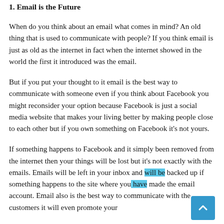1. Email is the Future
When do you think about an email what comes in mind? An old thing that is used to communicate with people? If you think email is just as old as the internet in fact when the internet showed in the world the first it introduced was the email.
But if you put your thought to it email is the best way to communicate with someone even if you think about Facebook you might reconsider your option because Facebook is just a social media website that makes your living better by making people close to each other but if you own something on Facebook it's not yours.
If something happens to Facebook and it simply been removed from the internet then your things will be lost but it's not exactly with the emails. Emails will be left in your inbox and will be backed up if something happens to the site where you have made the email account. Email also is the best way to communicate with the customers it will even promote your